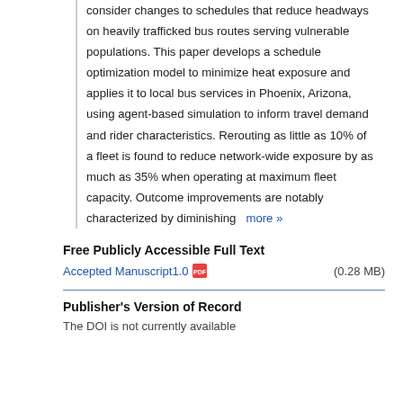consider changes to schedules that reduce headways on heavily trafficked bus routes serving vulnerable populations. This paper develops a schedule optimization model to minimize heat exposure and applies it to local bus services in Phoenix, Arizona, using agent-based simulation to inform travel demand and rider characteristics. Rerouting as little as 10% of a fleet is found to reduce network-wide exposure by as much as 35% when operating at maximum fleet capacity. Outcome improvements are notably characterized by diminishing  more »
Free Publicly Accessible Full Text
Accepted Manuscript1.0  (0.28 MB)
Publisher's Version of Record
The DOI is not currently available